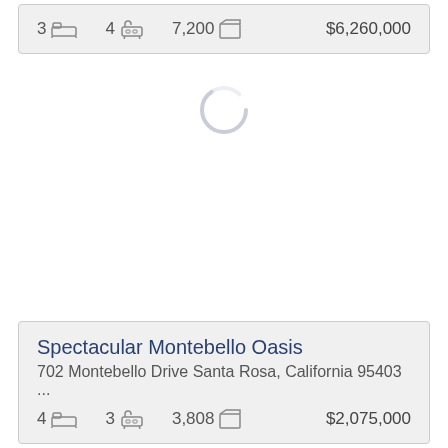| beds | baths | sqft | price |
| --- | --- | --- | --- |
| 3 | 4 | 7,200 | $6,260,000 |
[Figure (other): Loading spinner / circular progress indicator in the center of the page]
Spectacular Montebello Oasis
702 Montebello Drive Santa Rosa, California 95403 ...
| beds | baths | sqft | price |
| --- | --- | --- | --- |
| 4 | 3 | 3,808 | $2,075,000 |